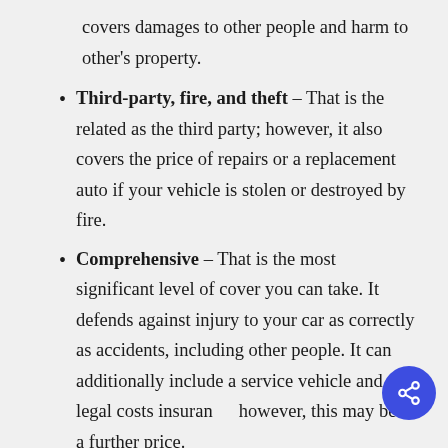covers damages to other people and harm to other's property.
Third-party, fire, and theft – That is the related as the third party; however, it also covers the price of repairs or a replacement auto if your vehicle is stolen or destroyed by fire.
Comprehensive – That is the most significant level of cover you can take. It defends against injury to your car as correctly as accidents, including other people. It can additionally include a service vehicle and legal costs insurance; however, this may be at a further price.